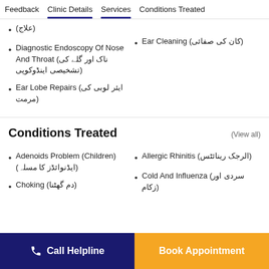Feedback | Clinic Details | Services | Conditions Treated
(علاج)
Diagnostic Endoscopy Of Nose And Throat (ناک اور گلے کی تشخیصی اینڈوکوپی)
Ear Lobe Repairs (ایئر لوبی کی مرمت)
Ear Cleaning (کان کی صفائی)
Conditions Treated
(View all)
Adenoids Problem (Children) (ایڈنوائڈز کا مسلہ)
Choking (دم گھٹنا)
Allergic Rhinitis (الرجک رینائٹس)
Cold And Influenza (سردی اور زکام)